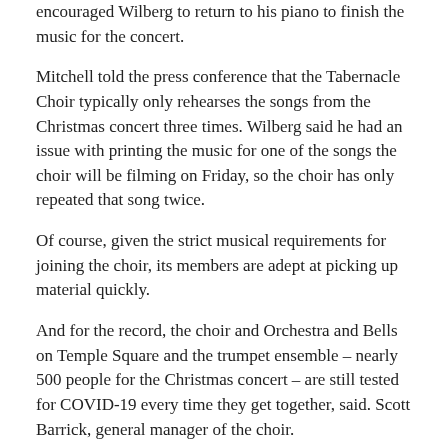encouraged Wilberg to return to his piano to finish the music for the concert.
Mitchell told the press conference that the Tabernacle Choir typically only rehearses the songs from the Christmas concert three times. Wilberg said he had an issue with printing the music for one of the songs the choir will be filming on Friday, so the choir has only repeated that song twice.
Of course, given the strict musical requirements for joining the choir, its members are adept at picking up material quickly.
And for the record, the choir and Orchestra and Bells on Temple Square and the trumpet ensemble – nearly 500 people for the Christmas concert – are still tested for COVID-19 every time they get together, said. Scott Barrick, general manager of the choir.
My recent stories
Video Message from President Nelson: Acts of Service Can